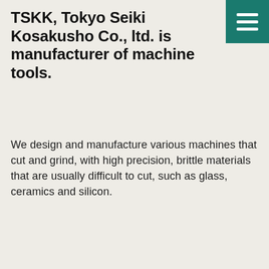TSKK, Tokyo Seiki Kosakusho Co., ltd. is manufacturer of machine tools.
We design and manufacture various machines that cut and grind, with high precision, brittle materials that are usually difficult to cut, such as glass, ceramics and silicon.
Current Status of Overseas Business
| On-site production |
| --- |
| Sales bases (incl. dealerships) |